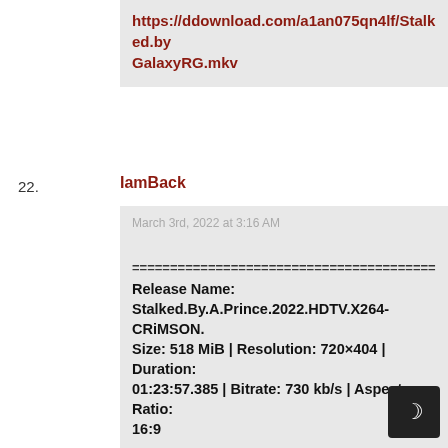https://ddownload.com/a1an075qn4lf/Stalked.by GalaxyRG.mkv
22. IamBack
March 3rd, 2022 at 3:16 AM
============================================
Release Name: Stalked.By.A.Prince.2022.HDTV.X264-CRiMSON.
Size: 518 MiB | Resolution: 720×404 | Duration: 01:23:57.385 | Bitrate: 730 kb/s | Aspect Ratio: 16:9
============================================
https://streamtape.com/v/zbKqdv9RIVfYjqd/Stal CRiMSON.mkv
https://rapidgator.net/file/1d82b0b48b6a20bc7b...